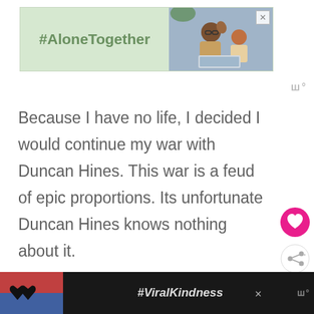[Figure (illustration): Advertisement banner with green background showing '#AloneTogether' hashtag in bold green text, alongside a photo of a man and child waving at a laptop screen. Has a close (X) button in top right corner.]
[Figure (logo): Wordmark logo in gray: 'WW°' style icon in top right area]
Because I have no life, I decided I would continue my war with Duncan Hines. This war is a feud of epic proportions. Its unfortunate Duncan Hines knows nothing about it.
[Figure (illustration): Pink circular like/heart button on right side]
[Figure (illustration): White circular share button on right side]
[Figure (illustration): Circular avatar/profile picture in orange/brown tones at bottom right]
[Figure (illustration): Bottom advertisement bar with dark background, showing a heart-hands silhouette photo on left and '#ViralKindness' italic text in center, with close button and WW° wordmark.]